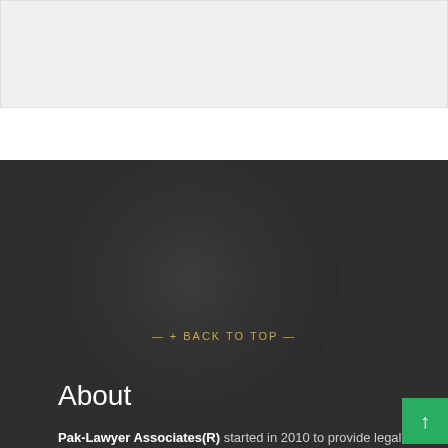[Figure (other): Light gray placeholder/image area at the top of the page]
— + BACK TO TOP —
About
Pak-Lawyer Associates(R) started in 2010 to provide legal services and also launched its website www.paklawyer.com at Lahore to fulfill the growing needs of the people searching the Internet for immediate and easy access to understandable legal advice.
Menu